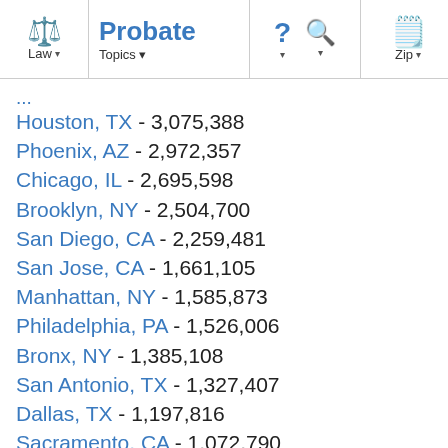Law | Probate | Topics | ? | Search | Zip
Houston, TX - 3,075,388
Phoenix, AZ - 2,972,357
Chicago, IL - 2,695,598
Brooklyn, NY - 2,504,700
San Diego, CA - 2,259,481
San Jose, CA - 1,661,105
Manhattan, NY - 1,585,873
Philadelphia, PA - 1,526,006
Bronx, NY - 1,385,108
San Antonio, TX - 1,327,407
Dallas, TX - 1,197,816
Sacramento, CA - 1,072,790
Seattle, WA - 965,769
Salt Lake City, UT - 932,320
Miami, FL - 908,839
Jacksonville, FL - 931,784 (partial)